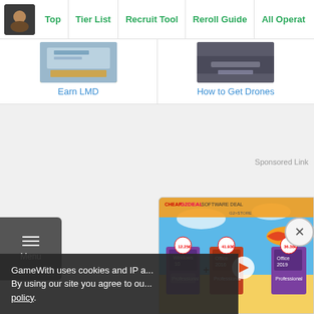Top | Tier List | Recruit Tool | Reroll Guide | All Operators
[Figure (screenshot): Card thumbnail for Earn LMD guide]
Earn LMD
[Figure (screenshot): Card thumbnail for How to Get Drones guide]
How to Get Drones
Sponsored Link
[Figure (advertisement): G2Deal Software Deal ad banner showing Windows 10, Office 2016, Office 2019 products with prices]
GameWith uses cookies and IP a... By using our site you agree to ou... policy.